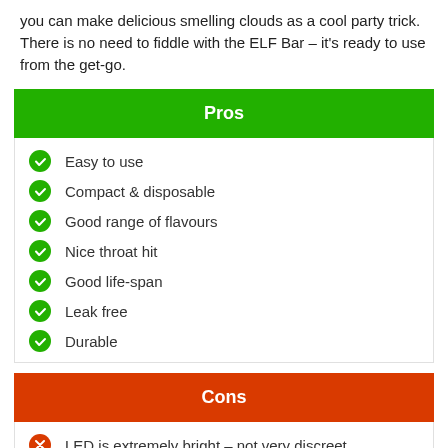you can make delicious smelling clouds as a cool party trick. There is no need to fiddle with the ELF Bar – it's ready to use from the get-go.
Pros
Easy to use
Compact & disposable
Good range of flavours
Nice throat hit
Good life-span
Leak free
Durable
Cons
LED is extremely bright – not very discreet
Does not last as long as regular vape pens as it is disposable
Prefilled with salt-based e-liquid with 2% nicotine strength